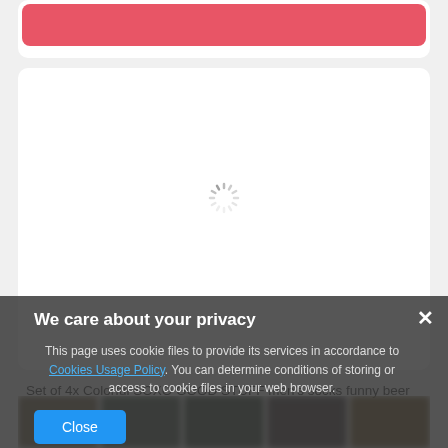[Figure (screenshot): Red bar at top of a white card, part of an e-commerce page UI]
[Figure (screenshot): White card area with a loading spinner in the center, showing a page is loading product content]
Set of 4x Colorful SOXO GOOD STUFF men's socks funny beer
[Figure (photo): Row of blurred product thumbnail images at the bottom of the page]
We care about your privacy
This page uses cookie files to provide its services in accordance to Cookies Usage Policy. You can determine conditions of storing or access to cookie files in your web browser.
Close